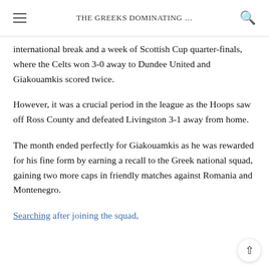THE GREEKS DOMINATING …
international break and a week of Scottish Cup quarter-finals, where the Celts won 3-0 away to Dundee United and Giakouamkis scored twice.
However, it was a crucial period in the league as the Hoops saw off Ross County and defeated Livingston 3-1 away from home.
The month ended perfectly for Giakouamkis as he was rewarded for his fine form by earning a recall to the Greek national squad, gaining two more caps in friendly matches against Romania and Montenegro.
Searching after joining the squad, he said 'I have to do…